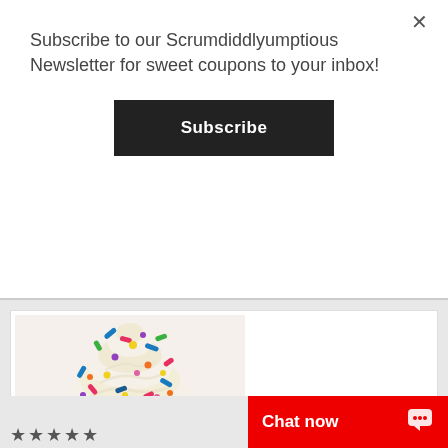Subscribe to our Scrumdiddlyumptious Newsletter for sweet coupons to your inbox!
Subscribe
[Figure (photo): Close-up photo of a vanilla cupcake topped with swirled white frosting and colorful sprinkles in blue, pink, red, green, yellow, and purple.]
NEW! BIRTHDAY CAKE FLAVOR! CUPCAKE
★★★★★
Chat now